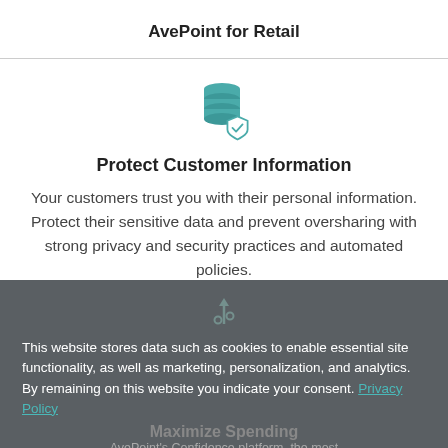AvePoint for Retail
[Figure (illustration): Teal database icon with a checkmark shield overlay]
Protect Customer Information
Your customers trust you with their personal information. Protect their sensitive data and prevent oversharing with strong privacy and security practices and automated policies.
This website stores data such as cookies to enable essential site functionality, as well as marketing, personalization, and analytics. By remaining on this website you indicate your consent. Privacy Policy
Maximize Spending
AvePoint's Confidence platform, the most